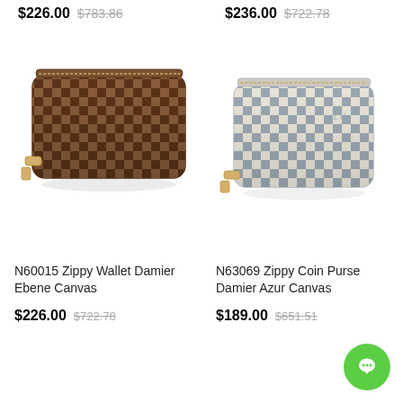$226.00  $783.86
$236.00  $722.78
[Figure (photo): Louis Vuitton N60015 Zippy Wallet Damier Ebene Canvas - brown checkered wallet with gold zipper]
[Figure (photo): Louis Vuitton N63069 Zippy Coin Purse Damier Azur Canvas - white/gray checkered coin purse with gold zipper]
N60015 Zippy Wallet Damier Ebene Canvas
$226.00  $722.78
N63069 Zippy Coin Purse Damier Azur Canvas
$189.00  $651.51